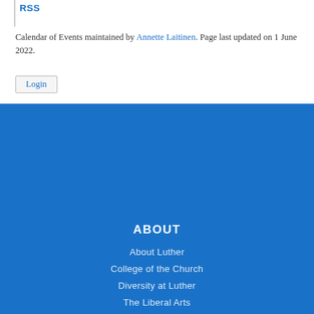Calendar of Events maintained by Annette Laitinen. Page last updated on 1 June 2022.
Login
ABOUT
About Luther
College of the Church
Diversity at Luther
The Liberal Arts
Sustainability
ALUMNI & FRIENDS
Alumni Directory
Alumni Home